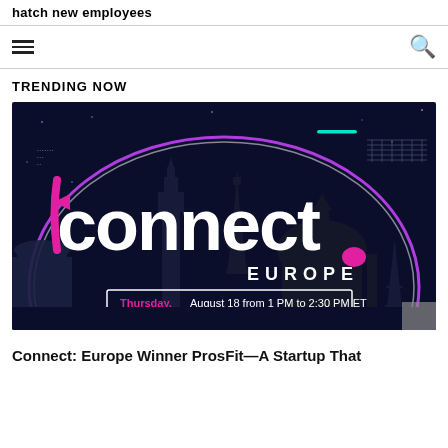hatch new employees
TRENDING NOW
[Figure (illustration): Connect Europe event promotional banner with European landmarks silhouette on dark blue background, purple neon arc, white 'connect' text with pink accents, 'EUROPE' subtitle, date banner: Thursday, August 18 from 1 PM to 2:30 PM ET]
Connect: Europe Winner ProsFit—A Startup That